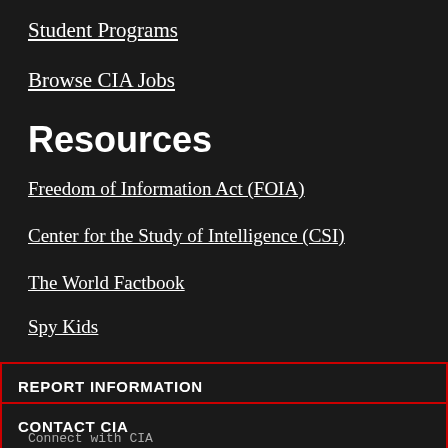Student Programs
Browse CIA Jobs
Resources
Freedom of Information Act (FOIA)
Center for the Study of Intelligence (CSI)
The World Factbook
Spy Kids
REPORT INFORMATION
CONTACT CIA
Connect with CIA